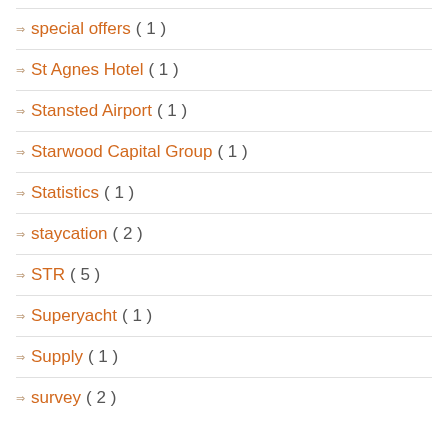special offers ( 1 )
St Agnes Hotel ( 1 )
Stansted Airport ( 1 )
Starwood Capital Group ( 1 )
Statistics ( 1 )
staycation ( 2 )
STR ( 5 )
Superyacht ( 1 )
Supply ( 1 )
survey ( 2 )